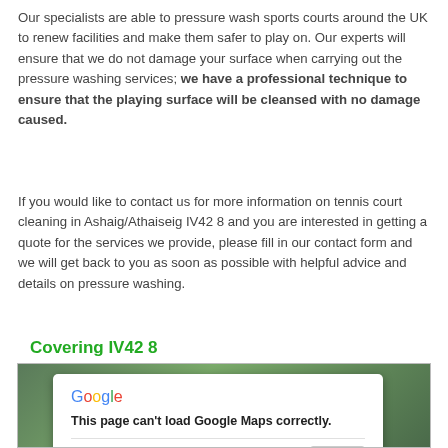Our specialists are able to pressure wash sports courts around the UK to renew facilities and make them safer to play on. Our experts will ensure that we do not damage your surface when carrying out the pressure washing services; we have a professional technique to ensure that the playing surface will be cleansed with no damage caused.
If you would like to contact us for more information on tennis court cleaning in Ashaig/Athaiseig IV42 8 and you are interested in getting a quote for the services we provide, please fill in our contact form and we will get back to you as soon as possible with helpful advice and details on pressure washing.
Covering IV42 8
[Figure (screenshot): Google Maps embed showing an error dialog: 'This page can't load Google Maps correctly.' with a Do you own this website? prompt and an OK button, overlaid on a blurred green map background.]